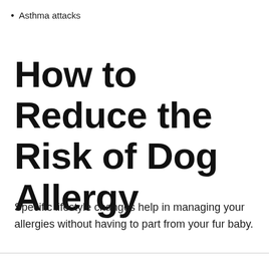Asthma attacks
How to Reduce the Risk of Dog Allergy
Specific lifestyle changes help in managing your allergies without having to part from your fur baby.